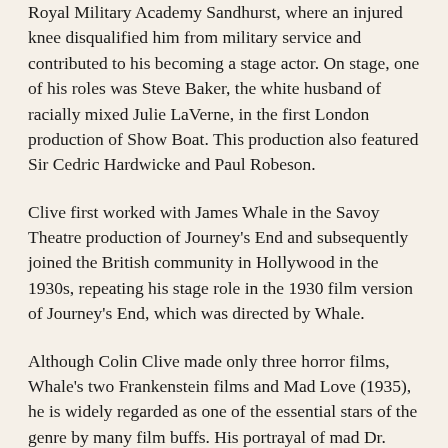Royal Military Academy Sandhurst, where an injured knee disqualified him from military service and contributed to his becoming a stage actor. On stage, one of his roles was Steve Baker, the white husband of racially mixed Julie LaVerne, in the first London production of Show Boat. This production also featured Sir Cedric Hardwicke and Paul Robeson.
Clive first worked with James Whale in the Savoy Theatre production of Journey's End and subsequently joined the British community in Hollywood in the 1930s, repeating his stage role in the 1930 film version of Journey's End, which was directed by Whale.
Although Colin Clive made only three horror films, Whale's two Frankenstein films and Mad Love (1935), he is widely regarded as one of the essential stars of the genre by many film buffs. His portrayal of mad Dr. Frankenstein has proved inspiration and a launching pad for scores of other mad scientist performances in films over the years. When he screams "It's Alive!" as his creation comes to life, it is one of the cinema's best remembered lines.
Clive's first screen role, in Journey's End, was incidentally directed by James Whale. Clive also had the distinction of appearing in Frankenstein...